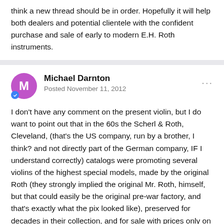think a new thread should be in order. Hopefully it will help both dealers and potential clientele with the confident purchase and sale of early to modern E.H. Roth instruments.
Michael Darnton
Posted November 11, 2012
I don't have any comment on the present violin, but I do want to point out that in the 60s the Scherl & Roth, Cleveland, (that's the US company, run by a brother, I think? and not directly part of the German company, IF I understand correctly) catalogs were promoting several violins of the highest special models, made by the original Roth (they strongly implied the original Mr. Roth, himself, but that could easily be the original pre-war factory, and that's exactly what the pix looked like), preserved for decades in their collection, and for sale with prices only on serious inquiry. The several violins they illustrated did have this brand on the button.
I asked a friend who had worked there in the early 70s and he